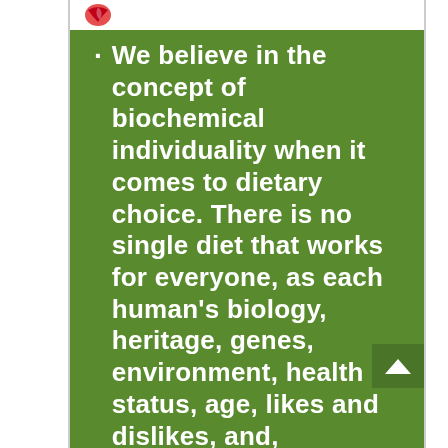We believe in the concept of biochemical individuality when it comes to dietary choice. There is no single diet that works for everyone, as each human's biology, heritage, genes, environment, health status, age, likes and dislikes, and, consequently, nutritional needs differ.
Our guiding principles in our work and in our lives are to be healthy and fit…